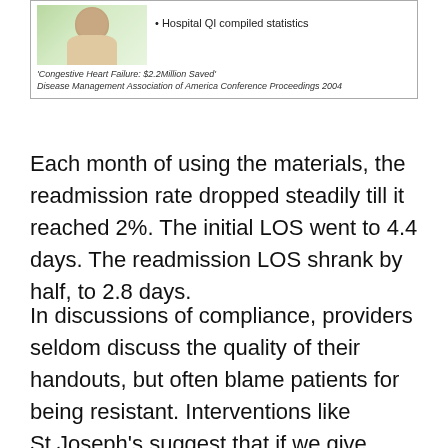[Figure (other): Box with image of a person and bullet point: Hospital QI compiled statistics. Footer text: 'Congestive Heart Failure: $2.2Million Saved' Disease Management Association of America Conference Proceedings 2004]
Each month of using the materials, the readmission rate dropped steadily till it reached 2%. The initial LOS went to 4.4 days. The readmission LOS shrank by half, to 2.8 days.
In discussions of compliance, providers seldom discuss the quality of their handouts, but often blame patients for being resistant. Interventions like St.Joseph's suggest that if we give patients materials they can understand, the majority will spontaneously comply.